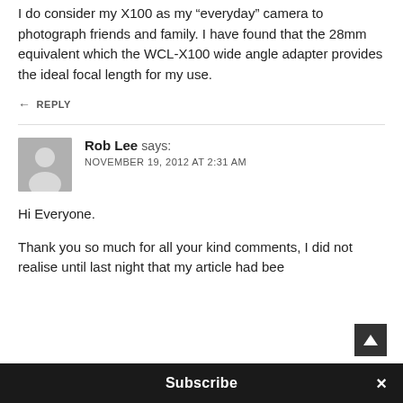I do consider my X100 as my “everyday” camera to photograph friends and family. I have found that the 28mm equivalent which the WCL-X100 wide angle adapter provides the ideal focal length for my use.
← REPLY
[Figure (other): Generic user avatar placeholder - gray square with silhouette icon]
Rob Lee says: NOVEMBER 19, 2012 AT 2:31 AM
Hi Everyone.
Thank you so much for all your kind comments, I did not realise until last night that my article had bee
Subscribe ×